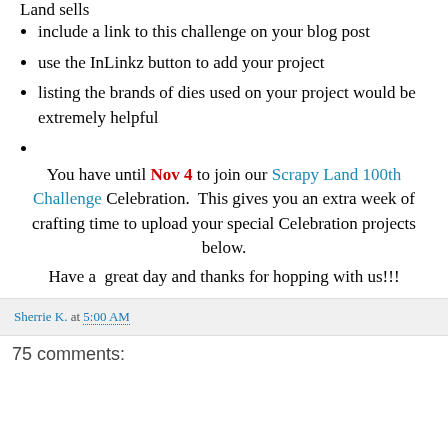Land sells
include a link to this challenge on your blog post
use the InLinkz button to add your project
listing the brands of dies used on your project would be extremely helpful
You have until Nov 4 to join our Scrapy Land 100th Challenge Celebration.  This gives you an extra week of crafting time to upload your special Celebration projects below.
Have a  great day and thanks for hopping with us!!!
Sherrie K. at 5:00 AM
75 comments: